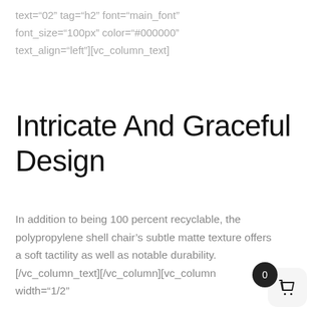!important;padding:10px 10px!important;][vc_... text="02" tag="h2" font="main_font" font_size="100px" color="#000000" text_align="left"][vc_column_text]
Intricate And Graceful Design
In addition to being 100 percent recyclable, the polypropylene shell chair's subtle matte texture offers a soft tactility as well as notable durability. [/vc_column_text][/vc_column][vc_column width="1/2"